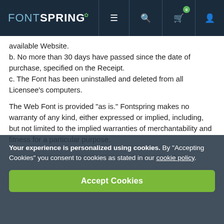FONTSPRING
available Website.
b. No more than 30 days have passed since the date of purchase, specified on the Receipt.
c. The Font has been uninstalled and deleted from all Licensee’s computers.
The Web Font is provided “as is.” Fontspring makes no warranty of any kind, either expressed or implied, including, but not limited to the implied warranties of merchantability and fitness for a particular purpose.
Fontspring shall not be liable for any direct, indirect,
Your experience is personalized using cookies. By “Accepting Cookies” you consent to cookies as stated in our cookie policy.
Accept Cookies